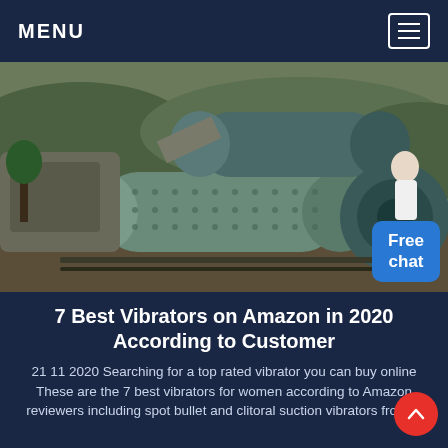MENU
[Figure (photo): Outdoor industrial scene showing heavy mining or milling machinery — large cylindrical ball mills, pipes, and mechanical equipment in a dusty terrain setting. A partial figure of a person in white is visible on the right side.]
7 Best Vibrators on Amazon in 2020 According to Customer
21 11 2020  Searching for a top rated vibrator you can buy online These are the 7 best vibrators for women according to Amazon reviewers including spot bullet and clitoral suction vibrators from…